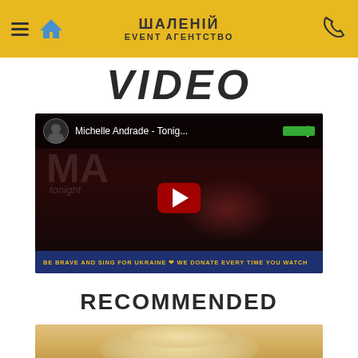ШАЛЕНІЙ EVENT АГЕНТСТВО
VIDEO
[Figure (screenshot): YouTube video player showing 'Michelle Andrade - Tonig...' with play button, dark background with MA logo, and bottom banner: 'BE BRAVE AND SING FOR UKRAINE ❤ WE DONATE EVERY TIME YOU WATCH']
RECOMMENDED
[Figure (photo): Bottom portion of a photo showing a person with blonde hair, partially visible]